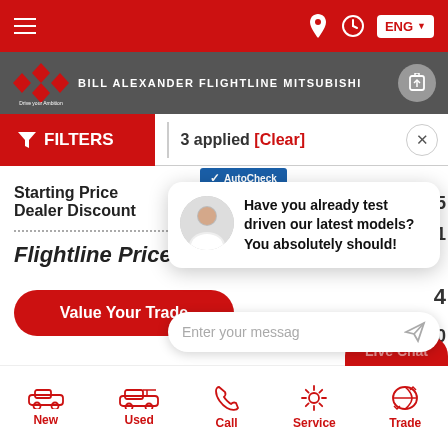Navigation bar with hamburger menu, location icon, clock icon, ENG language selector
BILL ALEXANDER FLIGHTLINE MITSUBISHI
FILTERS  3 applied  [Clear]
Starting Price
Dealer Discount
Flightline Price
Value Your Trade
[Figure (screenshot): Chat popup with woman avatar showing message: Have you already test driven our latest models? You absolutely should!]
Enter your messag
Live Chat
New  Used  Call  Service  Trade